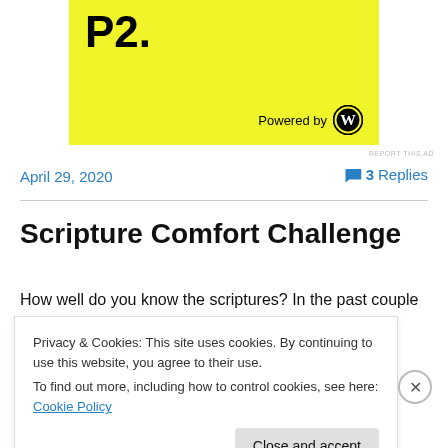[Figure (advertisement): Yellow P2 advertisement banner with 'Powered by WordPress' logo]
REPORT THIS AD
April 29, 2020
3 Replies
Scripture Comfort Challenge
How well do you know the scriptures?  In the past couple
Privacy & Cookies: This site uses cookies. By continuing to use this website, you agree to their use.
To find out more, including how to control cookies, see here: Cookie Policy
Close and accept